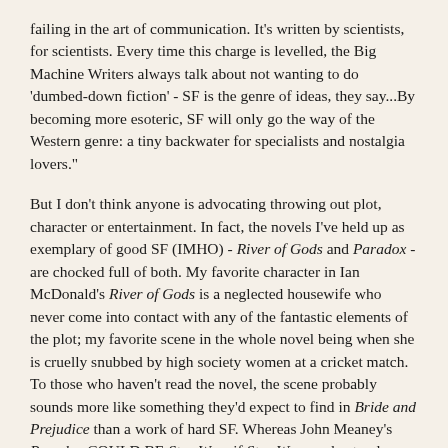failing in the art of communication. It's written by scientists, for scientists. Every time this charge is levelled, the Big Machine Writers always talk about not wanting to do 'dumbed-down fiction' - SF is the genre of ideas, they say...By becoming more esoteric, SF will only go the way of the Western genre: a tiny backwater for specialists and nostalgia lovers."
But I don't think anyone is advocating throwing out plot, character or entertainment. In fact, the novels I've held up as exemplary of good SF (IMHO) - River of Gods and Paradox - are chocked full of both. My favorite character in Ian McDonald's River of Gods is a neglected housewife who never come into contact with any of the fantastic elements of the plot; my favorite scene in the whole novel being when she is cruelly snubbed by high society women at a cricket match. To those who haven't read the novel, the scene probably sounds more like something they'd expect to find in Bride and Prejudice than a work of hard SF. Whereas John Meaney's Paradox COULD BE Star Wars if Star Wars understood plotting and character. It's the tale of a lower class boy who works his way up through a rigid class system in order to exact revenge on the Lord he blames for his father's death and his mother's fall. It has Lords and Ladies, sword fights, karate, rock climbing, lazer gun